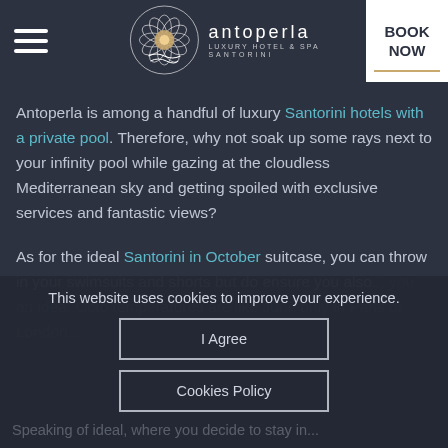Antoperla Luxury Hotel & Spa Santorini — Navigation header with hamburger menu, logo, and BOOK NOW button
Now if you would prefer shores with more sunbathing the beach... and relaxing times at your Antoperla...
Antoperla is among a handful of luxury Santorini hotels with a private pool. Therefore, why not soak up some rays next to your infinity pool while gazing at the cloudless Mediterranean sky and getting spoiled with exclusive services and fantastic views?
As for the ideal Santorini in October suitcase, you can throw in your swimsuits and shorts but do ensure you also... you an idea, October temperatures are like June only in Paris or London...
This website uses cookies to improve your experience.
I Agree
Cookies Policy
Speaking of ideal, where you decide to stay in...